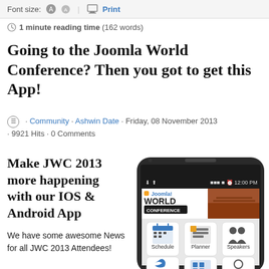Font size: [icons] | Print
1 minute reading time (162 words)
Going to the Joomla World Conference? Then you got to get this App!
Community · Ashwin Date · Friday, 08 November 2013 · 9921 Hits · 0 Comments
Make JWC 2013 more happening with our IOS & Android App
We have some awesome News for all JWC 2013 Attendees!
[Figure (screenshot): Screenshot of a smartphone displaying the Joomla World Conference app, showing the app interface with Schedule, Planner, and Speakers icons and social/other icons below.]